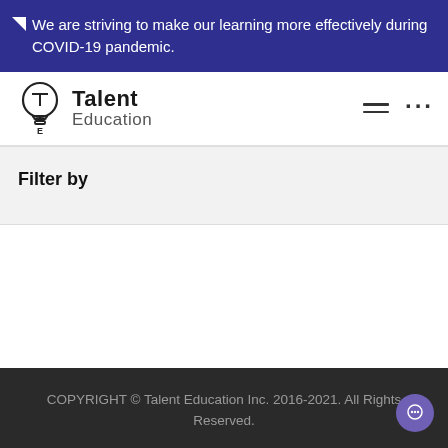We are striving to make our learning more effectively during COVID-19 pandemic.
[Figure (logo): Talent Education logo: lightbulb with T and E, bold 'Talent' and light 'Education' text]
Filter by
COPYRIGHT © Talent Education Inc. 2016-2021. All Rights Reserved.